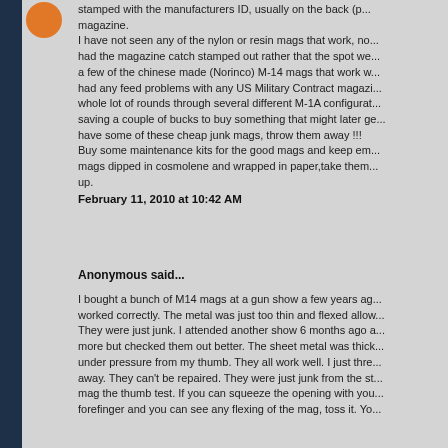stamped with the manufacturers ID, usually on the back (p... magazine. I have not seen any of the nylon or resin mags that work, no... had the magazine catch stamped out rather that the spot we... a few of the chinese made (Norinco) M-14 mags that work w... had any feed problems with any US Military Contract magazi... whole lot of rounds through several different M-1A configurat... saving a couple of bucks to buy something that might later ge... have some of these cheap junk mags, throw them away !!! Buy some maintenance kits for the good mags and keep em... mags dipped in cosmolene and wrapped in paper,take them... up.
February 11, 2010 at 10:42 AM
Anonymous said...
I bought a bunch of M14 mags at a gun show a few years ag... worked correctly. The metal was just too thin and flexed allow... They were just junk. I attended another show 6 months ago a... more but checked them out better. The sheet metal was thick... under pressure from my thumb. They all work well. I just thre... away. They can't be repaired. They were just junk from the st... mag the thumb test. If you can squeeze the opening with you... forefinger and you can see any flexing of the mag, toss it. Yo...